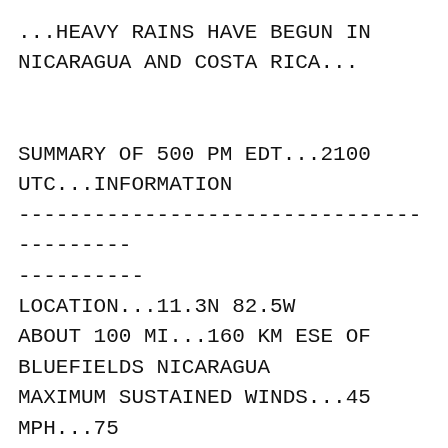...HEAVY RAINS HAVE BEGUN IN NICARAGUA AND COSTA RICA...
SUMMARY OF 500 PM EDT...2100 UTC...INFORMATION
-------------------------------------------------
----------
LOCATION...11.3N 82.5W
ABOUT 100 MI...160 KM ESE OF BLUEFIELDS NICARAGUA
MAXIMUM SUSTAINED WINDS...45 MPH...75 KM/H
PRESENT MOVEMENT...W OR 270 DEGREES AT 17 MPH...28 KM/H
MINIMUM CENTRAL PRESSURE...1004